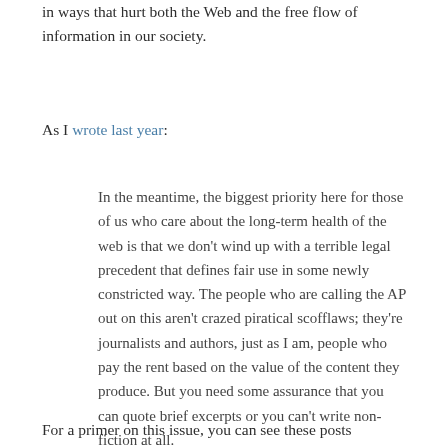in ways that hurt both the Web and the free flow of information in our society.
As I wrote last year:
In the meantime, the biggest priority here for those of us who care about the long-term health of the web is that we don't wind up with a terrible legal precedent that defines fair use in some newly constricted way. The people who are calling the AP out on this aren't crazed piratical scofflaws; they're journalists and authors, just as I am, people who pay the rent based on the value of the content they produce. But you need some assurance that you can quote brief excerpts or you can't write non-fiction at all.
For a primer on this issue, you can see these posts